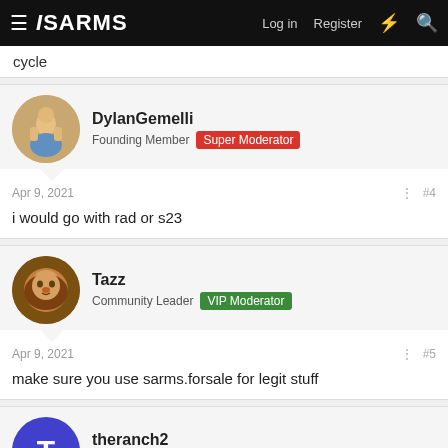ISARMS — Log in | Register
cycle
DylanGemelli
Founding Member | Super Moderator
Apr 9, 2021  #4
i would go with rad or s23
Tazz
Community Leader | VIP Moderator
Apr 9, 2021  #5
make sure you use sarms.forsale for legit stuff
theranch2
Junior Member | Member